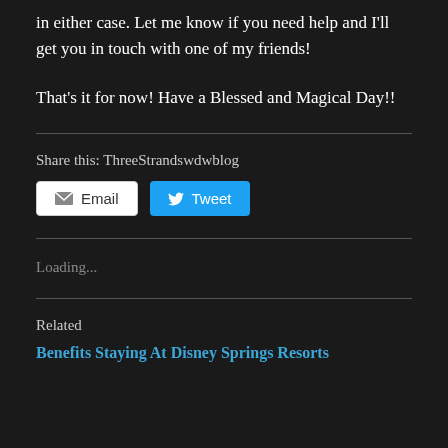in either case. Let me know if you need help and I'll get you in touch with one of my friends!
That's it for now! Have a Blessed and Magical Day!!
Share this: ThreeStrandswdwblog
[Figure (other): Email and Tweet share buttons]
Loading...
Related
Benefits Staying At Disney Springs Resorts